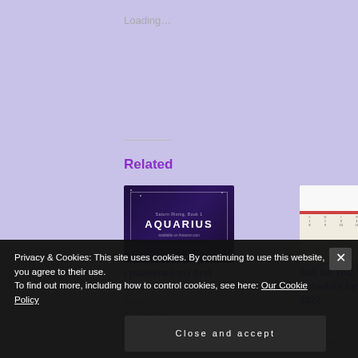Loading…
Related
[Figure (photo): Book cover image for Aquarius with purple/dark background and white border frame. Text reads 'Saturn Rising, Book 1 AQUARIUS available on Amazon.com']
I published my first book!
January 3, 2021
In "Aquarius"
[Figure (photo): Photo of a hand holding a purple pen and writing on a paper calendar on a wooden desk.]
Still No TAC 😑 – Schedule for September 2022
August 31, 2022
In "Schedule"
Privacy & Cookies: This site uses cookies. By continuing to use this website, you agree to their use.
To find out more, including how to control cookies, see here: Our Cookie Policy
Close and accept